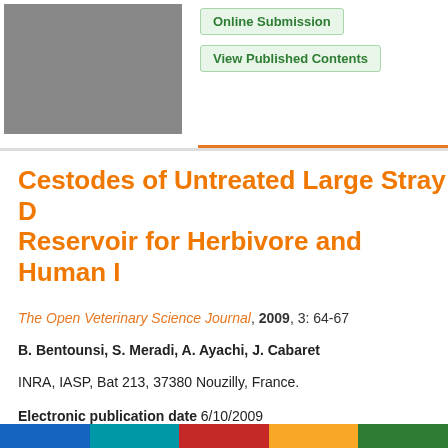[Figure (other): Gray placeholder image box in top-left corner of the page header]
Online Submission
View Published Contents
Cestodes of Untreated Large Stray D... Reservoir for Herbivore and Human I...
The Open Veterinary Science Journal, 2009, 3: 64-67
B. Bentounsi, S. Meradi, A. Ayachi, J. Cabaret
INRA, IASP, Bat 213, 37380 Nouzilly, France.
Electronic publication date 6/10/2009 [DOI: 10.2174/1874318809003010064]